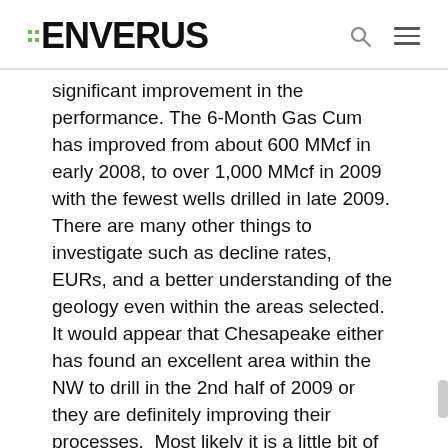ENVERUS
significant improvement in the performance. The 6-Month Gas Cum has improved from about 600 MMcf in early 2008, to over 1,000 MMcf in 2009 with the fewest wells drilled in late 2009.  There are many other things to investigate such as decline rates,  EURs, and a better understanding of the geology even within the areas selected.  It would appear that Chesapeake either has found an excellent area within the NW to drill in the 2nd half of 2009 or they are definitely improving their processes.  Most likely it is a little bit of both. We will evaluate this area again later this year as more production data becomes available for those wells drilled in the second half of 2009. Check